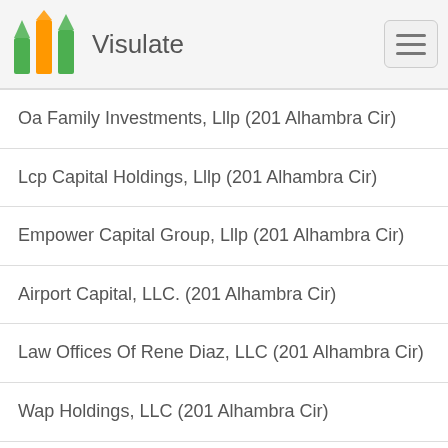Visulate
Oa Family Investments, Lllp (201 Alhambra Cir)
Lcp Capital Holdings, Lllp (201 Alhambra Cir)
Empower Capital Group, Lllp (201 Alhambra Cir)
Airport Capital, LLC. (201 Alhambra Cir)
Law Offices Of Rene Diaz, LLC (201 Alhambra Cir)
Wap Holdings, LLC (201 Alhambra Cir)
The Tank, LLC (201 Alhambra Cir)
Family Cigar Shop, LLC (201 Alhambra Cir)
Aida De Cuba, LLC (201 Alhambra Cir)
Three P'S Investments, LLC (201 Alhambra Cir)